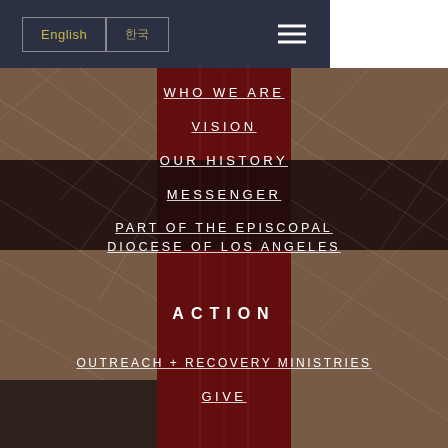English | 한국 [hamburger menu]
WHO WE ARE
VISION
OUR HISTORY
MESSENGER
PART OF THE EPISCOPAL DIOCESE OF LOS ANGELES
ACTION
OUTREACH + RECOVERY MINISTRIES
GIVE